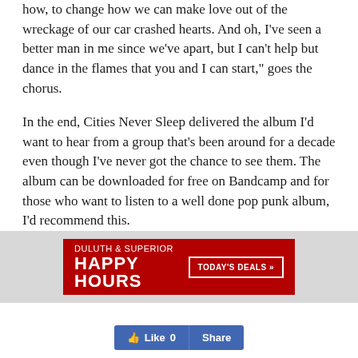how, to change how we can make love out of the wreckage of our car crashed hearts. And oh, I’ve seen a better man in me since we’ve apart, but I can’t help but dance in the flames that you and I can start,” goes the chorus.
In the end, Cities Never Sleep delivered the album I’d want to hear from a group that’s been around for a decade even though I’ve never got the chance to see them. The album can be downloaded for free on Bandcamp and for those who want to listen to a well done pop punk album, I’d recommend this.
[Figure (infographic): Red advertisement banner for Duluth & Superior Happy Hours with a Today's Deals button]
[Figure (screenshot): Facebook Like (0) and Share buttons]
Credits